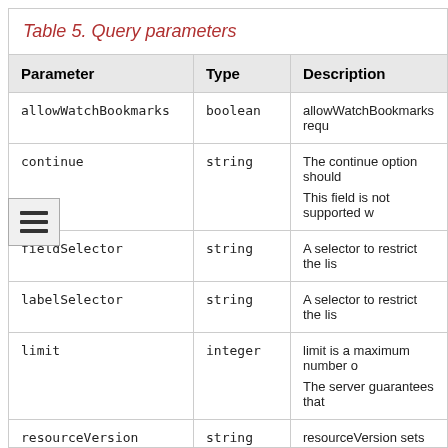Table 5. Query parameters
| Parameter | Type | Description |
| --- | --- | --- |
| allowWatchBookmarks | boolean | allowWatchBookmarks requ |
| continue | string | The continue option should
This field is not supported w |
| fieldSelector | string | A selector to restrict the lis |
| labelSelector | string | A selector to restrict the lis |
| limit | integer | limit is a maximum number o
The server guarantees that |
| resourceVersion | string | resourceVersion sets a con
Defaults to unset |
| resourceVersionMatch | string | resourceVersionMatch dete |